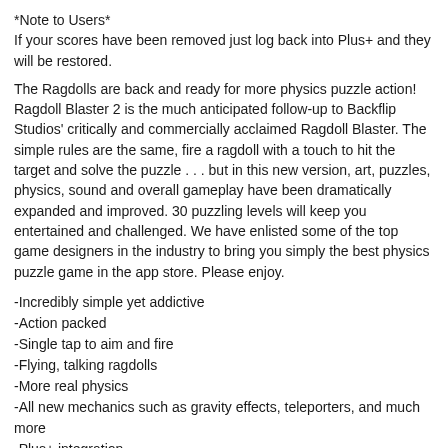*Note to Users*
If your scores have been removed just log back into Plus+ and they will be restored.
The Ragdolls are back and ready for more physics puzzle action! Ragdoll Blaster 2 is the much anticipated follow-up to Backflip Studios' critically and commercially acclaimed Ragdoll Blaster. The simple rules are the same, fire a ragdoll with a touch to hit the target and solve the puzzle . . . but in this new version, art, puzzles, physics, sound and overall gameplay have been dramatically expanded and improved. 30 puzzling levels will keep you entertained and challenged. We have enlisted some of the top game designers in the industry to bring you simply the best physics puzzle game in the app store. Please enjoy.
-Incredibly simple yet addictive
-Action packed
-Single tap to aim and fire
-Flying, talking ragdolls
-More real physics
-All new mechanics such as gravity effects, teleporters, and much more
-Plus+ integration
-Awards
-Submit and compare scores online per room
-Saves game progress
-30 levels of ragdoll fun